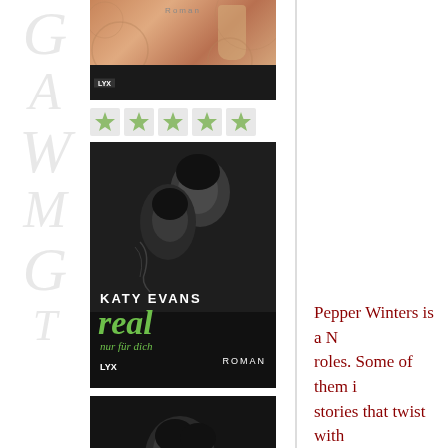[Figure (photo): Top portion of a book cover with warm tan/orange tones, LYX publisher badge, and text 'Roman']
[Figure (other): Row of five small star/rating icons]
[Figure (photo): Book cover: Katy Evans - 'real nur für dich', black and white couple embracing, green title text, LYX ROMAN]
[Figure (photo): Book cover: Katy Evans - 'mine du gehörst mir', black and white couple kissing, pink title text, LYX ROMAN]
Pepper Winters is a N... roles. Some of them i... stories that twist with... constantly thinks up w... have sex.